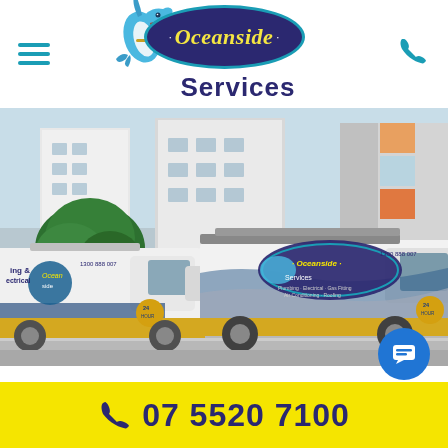[Figure (logo): Oceanside Services logo with dolphin mascot and dark blue oval badge with yellow italic text, and 'Services' text below in dark blue]
[Figure (photo): Two white Oceanside Services branded vans parked in front of modern residential buildings with greenery. Vans display dolphin logo and services list.]
07 5520 7100